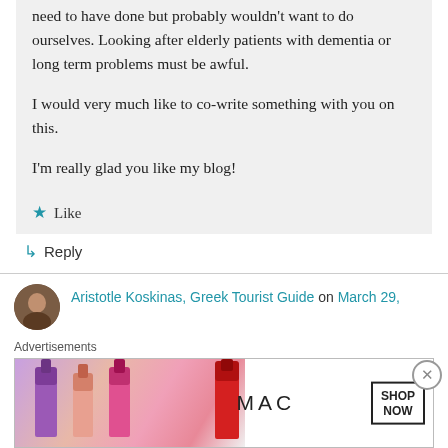need to have done but probably wouldn't want to do ourselves. Looking after elderly patients with dementia or long term problems must be awful.
I would very much like to co-write something with you on this.
I'm really glad you like my blog!
★ Like
↳ Reply
Aristotle Koskinas, Greek Tourist Guide on March 29,
Advertisements